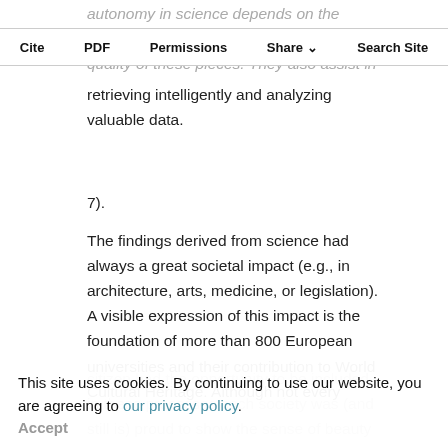autonomy in science depends on the quality of these pieces. They also assist in retrieving intelligently and analyzing valuable data.
Cite | PDF | Permissions | Share | Search Site
7).
The findings derived from science had always a great societal impact (e.g., in architecture, arts, medicine, or legislation). A visible expression of this impact is the foundation of more than 800 European universities and their contribution to World Cultural Heritage. Although not every citizen had the opportunity to be included in these processes each society was (and still is) proud to show the sense of beauty which inspired the creation of its cultural
This site uses cookies. By continuing to use our website, you are agreeing to our privacy policy. Accept